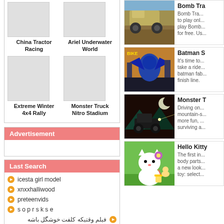[Figure (screenshot): Game thumbnail placeholder for China Tractor Racing]
China Tractor Racing
[Figure (screenshot): Game thumbnail placeholder for Ariel Underwater World]
Ariel Underwater World
[Figure (screenshot): Game thumbnail placeholder for Extreme Winter 4x4 Rally]
Extreme Winter 4x4 Rally
[Figure (screenshot): Game thumbnail placeholder for Monster Truck Nitro Stadium]
Monster Truck Nitro Stadium
Advertisement
Last Search
icesta girl model
xnxxhalliwood
preteenvids
s o p r s k s e
فیلم وقتیکه کلفت خوشگل باشه
preteenportallphoto
[Figure (screenshot): Bomb Transport game screenshot showing military truck on dirt terrain]
Bomb Tra... Bomb Tra... to play onl... play Bomb... for free. Us...
[Figure (screenshot): Batman S game screenshot showing armored Batman on motorcycle in city]
Batman S... It's time to... take a ride... batman fab... finish line.
[Figure (screenshot): Monster Truck game screenshot showing monster truck on dark mountain terrain at night]
Monster T... Driving on... mountain-s... more fun, ... surviving a...
[Figure (screenshot): Hello Kitty game screenshot showing Hello Kitty character with flower]
Hello Kitty... The first in... body parts... a new look... toy: select...